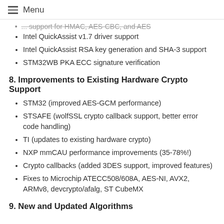Menu
... support for HMAC, AES-CBC, and AES (truncated/partial)
Intel QuickAssist v1.7 driver support
Intel QuickAssist RSA key generation and SHA-3 support
STM32WB PKA ECC signature verification
8. Improvements to Existing Hardware Crypto Support
STM32 (improved AES-GCM performance)
STSAFE (wolfSSL crypto callback support, better error code handling)
TI (updates to existing hardware crypto)
NXP mmCAU performance improvements (35-78%!)
Crypto callbacks (added 3DES support, improved features)
Fixes to Microchip ATECC508/608A, AES-NI, AVX2, ARMv8, devcrypto/afalg, ST CubeMX
9. New and Updated Algorithms